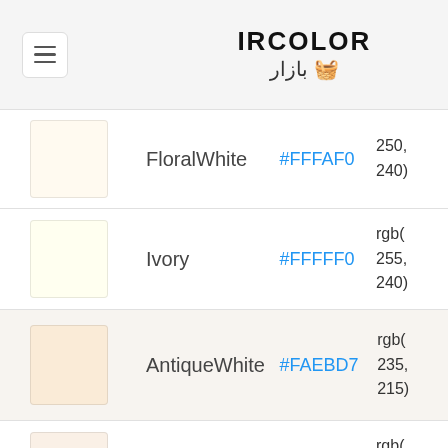IRCOLOR بازار
| Swatch | Name | Hex | RGB |
| --- | --- | --- | --- |
| FloralWhite swatch | FloralWhite | #FFFAF0 | rgb(250, 255, 240) |
| Ivory swatch | Ivory | #FFFFF0 | rgb(255, 255, 240) |
| AntiqueWhite swatch | AntiqueWhite | #FAEBD7 | rgb(250, 235, 215) |
| Linen swatch | Linen | #FAF0E6 | rgb(240, 230, 230) |